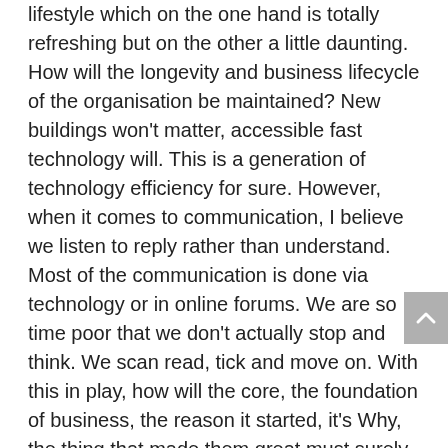lifestyle which on the one hand is totally refreshing but on the other a little daunting. How will the longevity and business lifecycle of the organisation be maintained? New buildings won't matter, accessible fast technology will. This is a generation of technology efficiency for sure. However, when it comes to communication,  I believe we listen to reply rather than understand. Most of the communication is done via technology or in online forums. We are so time poor that we don't actually stop and think. We scan read, tick and move on. With this in play, how will the core, the foundation of business, the reason it started, it's Why,  the thing that made them great must surely still be protected.
I totally agree that we must move forward and bring new thinking, disruptive innovation, better diversity and most importantly more